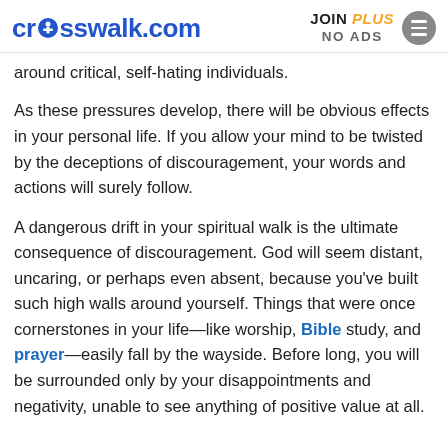crosswalk.com | JOIN PLUS NO ADS
around critical, self-hating individuals.
As these pressures develop, there will be obvious effects in your personal life. If you allow your mind to be twisted by the deceptions of discouragement, your words and actions will surely follow.
A dangerous drift in your spiritual walk is the ultimate consequence of discouragement. God will seem distant, uncaring, or perhaps even absent, because you've built such high walls around yourself. Things that were once cornerstones in your life—like worship, Bible study, and prayer—easily fall by the wayside. Before long, you will be surrounded only by your disappointments and negativity, unable to see anything of positive value at all.